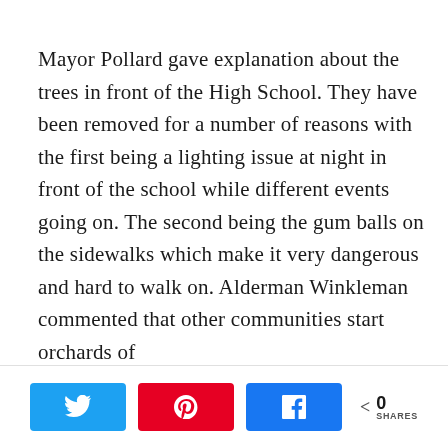Mayor Pollard gave explanation about the trees in front of the High School. They have been removed for a number of reasons with the first being a lighting issue at night in front of the school while different events going on. The second being the gum balls on the sidewalks which make it very dangerous and hard to walk on. Alderman Winkleman commented that other communities start orchards of
[Figure (infographic): Social sharing bar with Twitter, Pinterest, and Facebook share buttons, and a share count showing 0 SHARES]